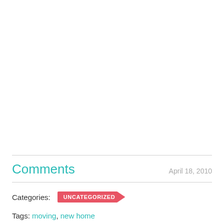Comments   April 18, 2010
Categories: UNCATEGORIZED
Tags: moving, new home